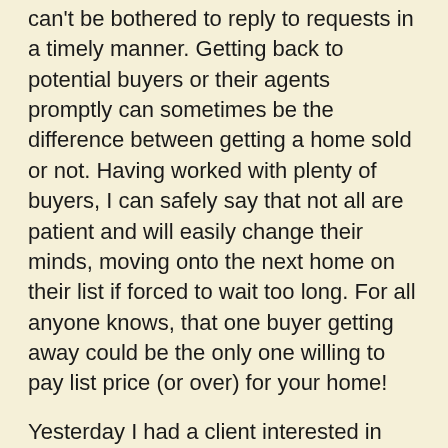can't be bothered to reply to requests in a timely manner.  Getting back to potential buyers or their agents promptly can sometimes be the difference between getting a home sold or not.  Having worked with plenty of buyers, I can safely say that not all are patient and will easily change their minds, moving onto the next home on their list if forced to wait too long.  For all anyone knows, that one buyer getting away could be the only one willing to pay list price (or over) for your home!
Yesterday I had a client interested in seeing one of our local homes.  My first attempt at an appointment was by email since I was on our realtor MLS when the request came in and found a convenient email link inside the listing when searching for the agents contact information.  After sending all my information with some requested time frames, I waited for what I hoped would be a quick reply.  After a short length of time without a reply, I decided I would try again, but